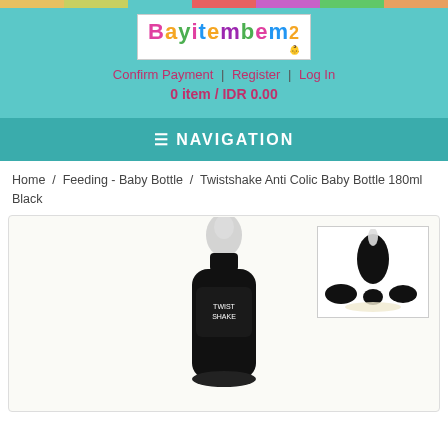[Figure (logo): Bayitembem logo with colorful letters and baby icon]
Confirm Payment | Register | Log In
0 item / IDR 0.00
≡ NAVIGATION
Home / Feeding - Baby Bottle / Twistshake Anti Colic Baby Bottle 180ml Black
[Figure (photo): Twistshake Anti Colic Baby Bottle 180ml Black - thumbnail showing bottle components]
[Figure (photo): Twistshake Anti Colic Baby Bottle 180ml Black - main product image showing black baby bottle with clear nipple]